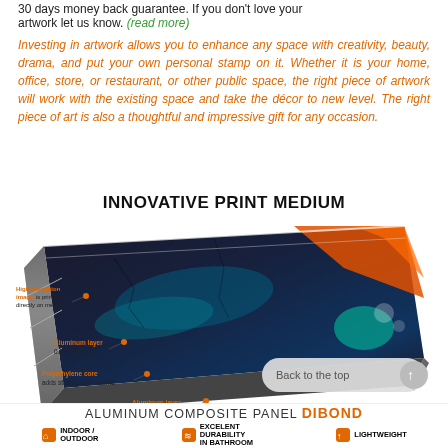30 days money back guarantee. If you don't love your artwork let us know. (read more)
Investing in artwork allows you to enhance any space with creativity, beauty, drama, and put your own personal stamp on it. Whether it is your home, office, store, or restaurant, or other public space, the right piece of artwork will work with the existing space and take the décor to new level. The right piece of art is also a thoughtful and impressive gift for any occasion.
INNOVATIVE PRINT MEDIUM
[Figure (infographic): Diagram of a metal print panel showing layers: High-resolution image printed directly on metal (top), Aluminum layer 0.8mm (0.03"), Polyethylene core adds stability and volume, Aluminum layer 0.8mm (0.03"). Labels with orange text and orange dot connectors on each layer. A 'Back to the top' button overlay is shown.]
ALUMINUM COMPOSITE PANEL DIBOND
INDOOR / OUTDOOR
EXCELENT DURABILITY IN BATHROOM
LIGHTWEIGHT